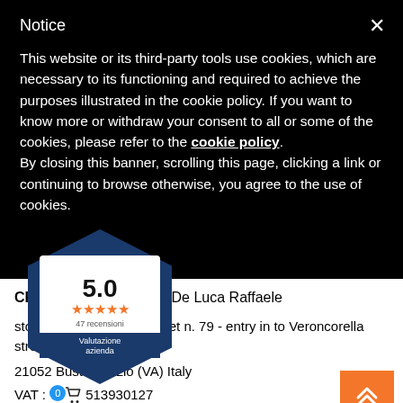Notice
This website or its third-party tools use cookies, which are necessary to its functioning and required to achieve the purposes illustrated in the cookie policy. If you want to know more or withdraw your consent to all or some of the cookies, please refer to the cookie policy.
By closing this banner, scrolling this page, clicking a link or continuing to browse otherwise, you agree to the use of cookies.
[Figure (infographic): Badge showing 5.0 star rating with 47 recensioni and text Valutazione azienda in a hexagonal blue shape]
CRAZY CAT HOBBY di De Luca Raffaele
store : Vespri Siciliani street n. 79 - entry in to Veroncorella street n. 2
21052 Busto Arsizio (VA) Italy
VAT : 0513930127
REA : VA 357487